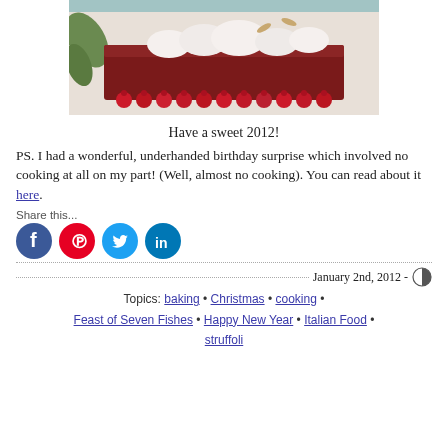[Figure (photo): Close-up photo of a chocolate cake decorated with raspberries around the base and whipped cream on top]
Have a sweet 2012!
PS. I had a wonderful, underhanded birthday surprise which involved no cooking at all on my part! (Well, almost no cooking). You can read about it here.
Share this...
[Figure (infographic): Social media share icons: Facebook, Pinterest, Twitter, LinkedIn]
January 2nd, 2012 -
Topics: baking • Christmas • cooking • Feast of Seven Fishes • Happy New Year • Italian Food • struffoli